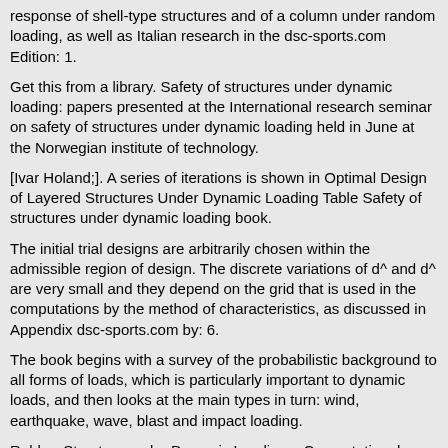response of shell-type structures and of a column under random loading, as well as Italian research in the dsc-sports.com Edition: 1.
Get this from a library. Safety of structures under dynamic loading: papers presented at the International research seminar on safety of structures under dynamic loading held in June at the Norwegian institute of technology.
[Ivar Holand;]. A series of iterations is shown in Optimal Design of Layered Structures Under Dynamic Loading Table Safety of structures under dynamic loading book.
The initial trial designs are arbitrarily chosen within the admissible region of design. The discrete variations of d^ and d^ are very small and they depend on the grid that is used in the computations by the method of characteristics, as discussed in Appendix dsc-sports.com by: 6.
The book begins with a survey of the probabilistic background to all forms of loads, which is particularly important to dynamic loads, and then looks at the main types in turn: wind, earthquake, wave, blast and impact loading.
Rubber Structure under Dynamic Loading – Computational Studies. This study focuses on the rubber structure behaviour